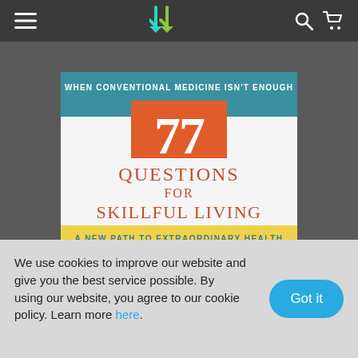Navigation bar with hamburger menu, logo, search and cart icons
[Figure (photo): Book cover of '77 Questions for Skillful Living: A New Path to Extraordinary Health – When Conventional Medicine Isn't Enough', with teal header, orange number 77, orange serif title text, yellow subtitle band, and a landscape photo at the bottom with a quote from Dr. Finkelstein.]
We use cookies to improve our website and give you the best service possible. By using our website, you agree to our cookie policy. Learn more here.